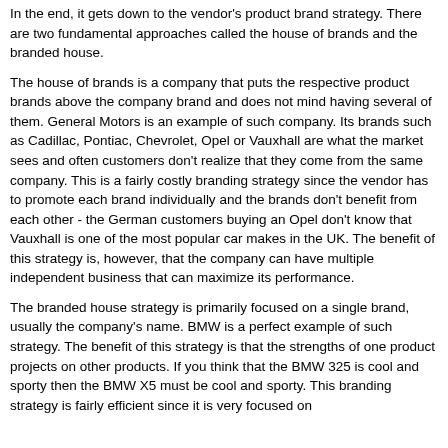In the end, it gets down to the vendor's product brand strategy. There are two fundamental approaches called the house of brands and the branded house.
The house of brands is a company that puts the respective product brands above the company brand and does not mind having several of them. General Motors is an example of such company. Its brands such as Cadillac, Pontiac, Chevrolet, Opel or Vauxhall are what the market sees and often customers don't realize that they come from the same company. This is a fairly costly branding strategy since the vendor has to promote each brand individually and the brands don't benefit from each other - the German customers buying an Opel don't know that Vauxhall is one of the most popular car makes in the UK. The benefit of this strategy is, however, that the company can have multiple independent business that can maximize its performance.
The branded house strategy is primarily focused on a single brand, usually the company's name. BMW is a perfect example of such strategy. The benefit of this strategy is that the strengths of one product projects on other products. If you think that the BMW 325 is cool and sporty then the BMW X5 must be cool and sporty. This branding strategy is fairly efficient since it is very focused on